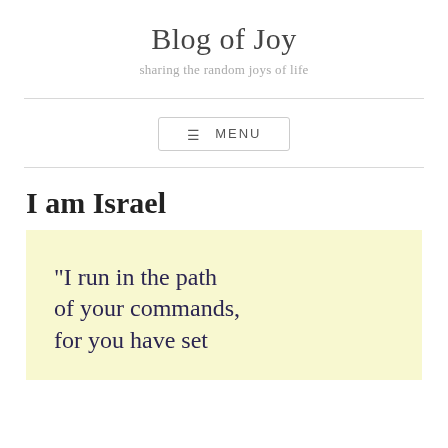Blog of Joy
sharing the random joys of life
≡ MENU
I am Israel
[Figure (illustration): Light yellow background quote box with dark purple serif text reading: "I run in the path of your commands, for you have set]